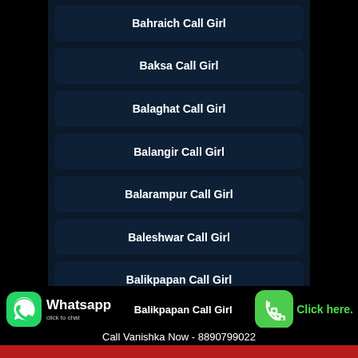Bahraich Call Girl
Baksa Call Girl
Balaghat Call Girl
Balangir Call Girl
Balarampur Call Girl
Baleshwar Call Girl
Bali Call Girl
Balikpapan Call Girl
[Figure (screenshot): WhatsApp click to chat banner with green WhatsApp icon, 'Whatsapp click to chat' text, phone number Call Vanishka Now - 8890799022, and green call button with 'Click here.' text]
Call Vanishka Now - 8890799022
WhatsApp To Vanishka - 8890799022